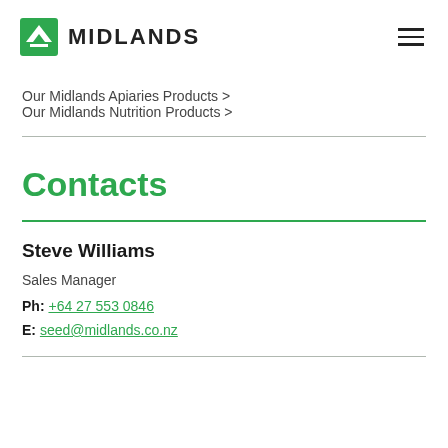[Figure (logo): Midlands company logo: green square with white layered triangle/arrow icon, followed by bold uppercase text MIDLANDS]
Our Midlands Apiaries Products >
Our Midlands Nutrition Products >
Contacts
Steve Williams
Sales Manager
Ph: +64 27 553 0846
E: seed@midlands.co.nz